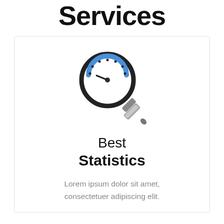Services
[Figure (illustration): A magnifying glass icon with a speedometer/gauge dial inside the lens, showing a needle pointing left. The gauge has blue tick marks along the top arc and dark tick marks on the sides. The handle is metallic gray.]
Best Statistics
Lorem ipsum dolor sit amet, consectetuer adipiscing elit.